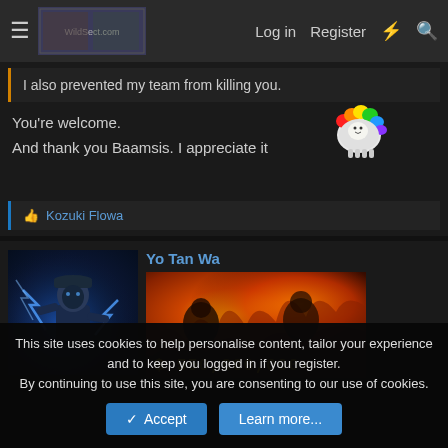≡  [site logo]  Log in  Register  ⚡  🔍
I also prevented my team from killing you.
You're welcome.
And thank you Baamsis. I appreciate it 🌈🐑
👍 Kozuki Flowa
Yo Tan Wa
[Figure (screenshot): User avatar showing a male character with blue electric lightning effects, wearing a cap, dark background]
[Figure (screenshot): Anime/manga bounty card showing fire scene with text '$ 550,000,000-']
This site uses cookies to help personalise content, tailor your experience and to keep you logged in if you register.
By continuing to use this site, you are consenting to our use of cookies.
✓ Accept   Learn more...